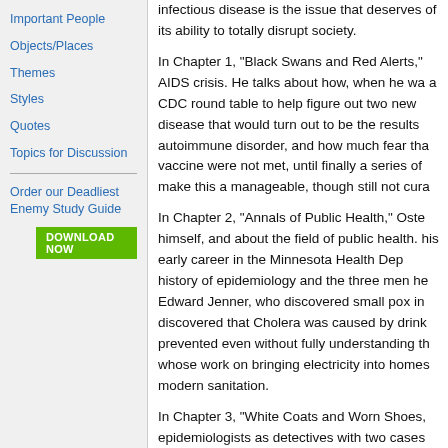Important People
Objects/Places
Themes
Styles
Quotes
Topics for Discussion
Order our Deadliest Enemy Study Guide
DOWNLOAD NOW
infectious disease is the issue that deserves of its ability to totally disrupt society.
In Chapter 1, "Black Swans and Red Alerts," AIDS crisis. He talks about how, when he wa a CDC round table to help figure out two new disease that would turn out to be the results autoimmune disorder, and how much fear tha vaccine were not met, until finally a series of make this a manageable, though still not cura
In Chapter 2, "Annals of Public Health," Oste himself, and about the field of public health. his early career in the Minnesota Health Dep history of epidemiology and the three men he Edward Jenner, who discovered small pox in discovered that Cholera was caused by drink prevented even without fully understanding th whose work on bringing electricity into homes modern sanitation.
In Chapter 3, "White Coats and Worn Shoes, epidemiologists as detectives with two cases women began dying of toxic shock syndrome identified the culprit as being a new compone after a few missteps. When a number of peo diarrhea and dehydration in rural Michigan, C culprit down to raw milk, and were able to sto the exact cause, effectively "pulling the pump
In Chapter 4, "The Threat Matrix," Osterholm